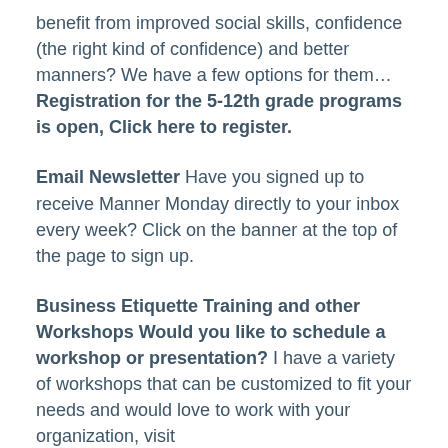benefit from improved social skills, confidence (the right kind of confidence) and better manners?  We have a few options for them... Registration for the 5-12th grade programs is open, Click here to register.
Email Newsletter Have you signed up to receive Manner Monday directly to your inbox every week?  Click on the banner at the top of the page to sign up.
Business Etiquette Training and other Workshops Would you like to schedule a workshop or presentation? I have a variety of workshops that can be customized to fit your needs and would love to work with your organization, visit www.expeditionsinetiquette.com to access the Business Section of the website.  Or please call or